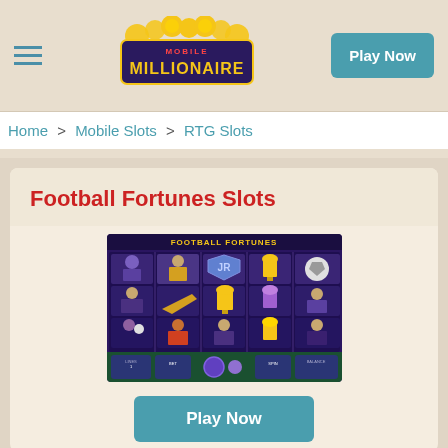Mobile Millionaire — Play Now
Home > Mobile Slots > RTG Slots
Football Fortunes Slots
[Figure (screenshot): Football Fortunes slot machine game screenshot showing a 5-reel slot with football-themed symbols including players, trophies, cleats, and a ball on a purple background]
Play Now